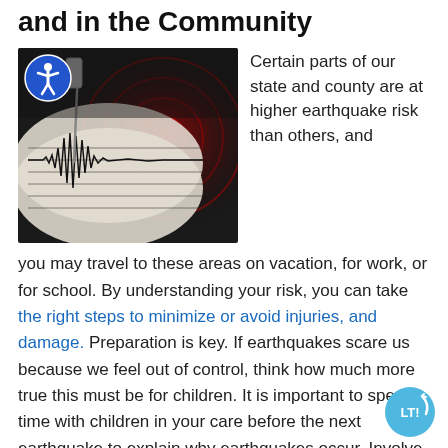and in the Community
[Figure (photo): Close-up photo of a seismograph needle tracing earthquake waves on paper, with red concentric circle overlay effect in background]
Certain parts of our state and county are at higher earthquake risk than others, and you may travel to these areas on vacation, for work, or for school. By understanding your risk, you can take the right steps to minimize or avoid injuries, and damage. Preparation is key. If earthquakes scare us because we feel out of control, think how much more true this must be for children. It is important to spend time with children in your care before the next earthquake to explain why earthquakes occur. Involve them in developing your disaster plan, prepare disaster supply kits, and practice "drop, cover, and hold on." At each of